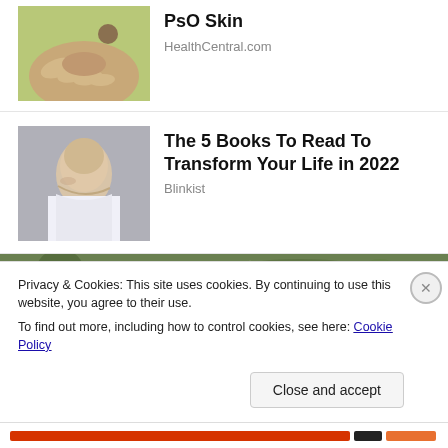[Figure (photo): Hand holding a small object, outdoors green background]
PsO Skin
HealthCentral.com
[Figure (photo): Young woman with light hair looking sideways, light background]
The 5 Books To Read To Transform Your Life in 2022
Blinkist
[Figure (photo): Green leafy background with person's head partially visible]
Privacy & Cookies: This site uses cookies. By continuing to use this website, you agree to their use.
To find out more, including how to control cookies, see here: Cookie Policy
Close and accept